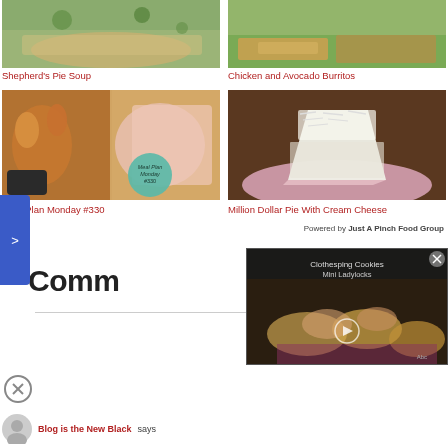[Figure (photo): Shepherd's Pie Soup food photo (cropped at top)]
[Figure (photo): Chicken and Avocado Burritos food photo (cropped at top)]
Shepherd's Pie Soup
Chicken and Avocado Burritos
[Figure (photo): Meal Plan Monday #330 food photo with teal badge overlay]
[Figure (photo): Million Dollar Pie With Cream Cheese food photo]
Meal Plan Monday #330
Million Dollar Pie With Cream Cheese
Powered by Just A Pinch Food Group
Comm
[Figure (screenshot): Video overlay showing Clothesping Cookies Mini Ladylocks with play button]
[Figure (photo): User avatar circle]
Blog is the New Black says